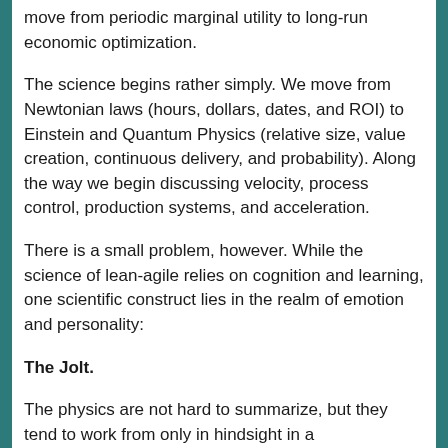move from periodic marginal utility to long-run economic optimization.
The science begins rather simply. We move from Newtonian laws (hours, dollars, dates, and ROI) to Einstein and Quantum Physics (relative size, value creation, continuous delivery, and probability). Along the way we begin discussing velocity, process control, production systems, and acceleration.
There is a small problem, however. While the science of lean-agile relies on cognition and learning, one scientific construct lies in the realm of emotion and personality:
The Jolt.
The physics are not hard to summarize, but they tend to work from only in hindsight in a retrospective...